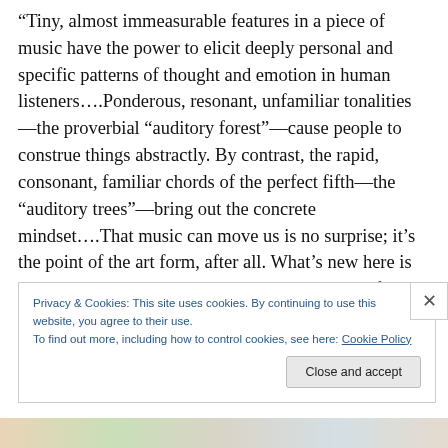“Tiny, almost immeasurable features in a piece of music have the power to elicit deeply personal and specific patterns of thought and emotion in human listeners….Ponderous, resonant, unfamiliar tonalities—the proverbial “auditory forest”—cause people to construe things abstractly. By contrast, the rapid, consonant, familiar chords of the perfect fifth—the “auditory trees”—bring out the concrete mindset….That music can move us is no surprise; it’s the point of the art form, after all. What’s new here is the manner in which the researchers have quantified in fine-grained detail the cognitive ramifications
Privacy & Cookies: This site uses cookies. By continuing to use this website, you agree to their use.
To find out more, including how to control cookies, see here: Cookie Policy